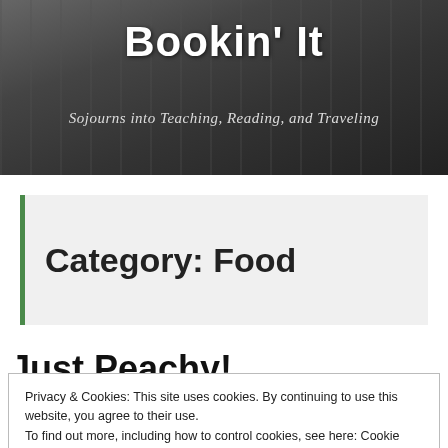Bookin' It
Sojourns into Teaching, Reading, and Traveling
Category: Food
Just Peachy!
Privacy & Cookies: This site uses cookies. By continuing to use this website, you agree to their use.
To find out more, including how to control cookies, see here: Cookie Policy
Close and accept
into my classroom.  But it was cute.  The kitchen